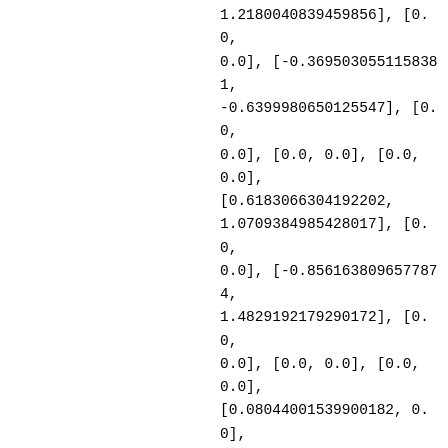1.2180040839459856], [0.0, 0.0], [-0.3695030551158381, -0.6399980650125547], [0.0, 0.0], [0.0, 0.0], [0.0, 0.0], [0.6183066304192202, 1.0709384985428017], [0.0, 0.0], [-0.8561638096577874, 1.4829192179290172], [0.0, 0.0], [0.0, 0.0], [0.0, 0.0], [0.08044001539900182, 0.0], [0.0, 0.0], [-0.3557420437872594, 0.6161632942279256], [0.0, 0.0], [0.0, 0.0], [0.0, 0.0], [0.9401995807523352, 0.1286633638199092], [0.0, 0.0], [-0.6681449215943323, -1.1572609510205074], [0.0, 0.0], [0.0, 0.0], [0.0, 0.0], [0.723484469880861, 0.0],